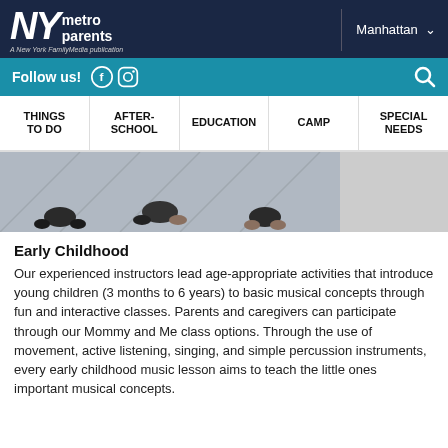NY metro parents — A New York FamilyMedia publication — Manhattan
Follow us!
THINGS TO DO | AFTER-SCHOOL | EDUCATION | CAMP | SPECIAL NEEDS
[Figure (photo): Overhead view of children and adults sitting on the floor, feet and lower bodies visible]
Early Childhood
Our experienced instructors lead age-appropriate activities that introduce young children (3 months to 6 years) to basic musical concepts through fun and interactive classes. Parents and caregivers can participate through our Mommy and Me class options. Through the use of movement, active listening, singing, and simple percussion instruments, every early childhood music lesson aims to teach the little ones important musical concepts.